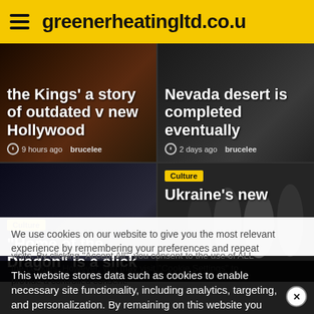greenerheatingltd.co.u
[Figure (screenshot): News article card: 'the Kings' a story of outdated v new Hollywood', 9 hours ago, brucelee]
[Figure (screenshot): News article card: 'Nevada desert is completed eventually', 2 days ago, brucelee]
[Figure (screenshot): News article card with Culture tag: '"Home of the Dragon" is a slick', Culture category]
[Figure (screenshot): News article card with Culture tag: Ukraine's new...'},  Culture category]
We use cookies on our website to give you the most relevant experience by remembering your preferences and repeat visits. By clicking "Accept All", you consent to the use of ALL the cookies. However, you may visit "Cookie Settings" to provide a controlled consent.
This website stores data such as cookies to enable necessary site functionality, including analytics, targeting, and personalization. By remaining on this website you indicate your consent Cookie Policy